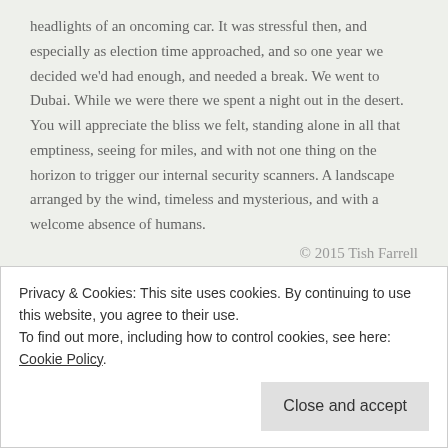headlights of an oncoming car. It was stressful then, and especially as election time approached, and so one year we decided we'd had enough, and needed a break. We went to Dubai. While we were there we spent a night out in the desert. You will appreciate the bliss we felt, standing alone in all that emptiness, seeing for miles, and with not one thing on the horizon to trigger our internal security scanners. A landscape arranged by the wind, timeless and mysterious, and with a welcome absence of humans.
© 2015 Tish Farrell
Paula's Thursday's Special: Arranged
Posted on January 29, 2015
Privacy & Cookies: This site uses cookies. By continuing to use this website, you agree to their use.
To find out more, including how to control cookies, see here: Cookie Policy